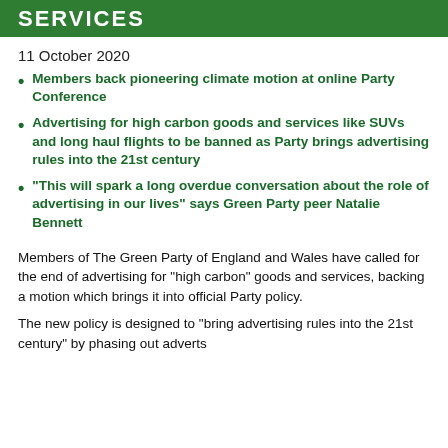SERVICES
11 October 2020
Members back pioneering climate motion at online Party Conference
Advertising for high carbon goods and services like SUVs and long haul flights to be banned as Party brings advertising rules into the 21st century
“This will spark a long overdue conversation about the role of advertising in our lives” says Green Party peer Natalie Bennett
Members of The Green Party of England and Wales have called for the end of advertising for “high carbon” goods and services, backing a motion which brings it into official Party policy.
The new policy is designed to “bring advertising rules into the 21st century” by phasing out adverts